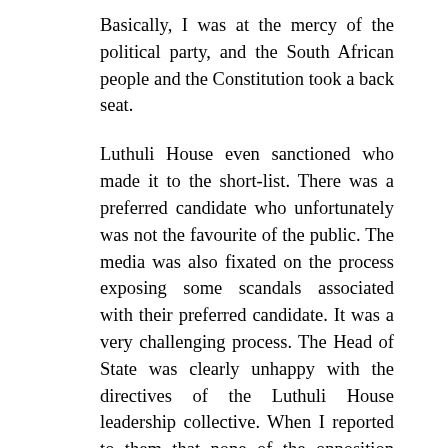Basically, I was at the mercy of the political party, and the South African people and the Constitution took a back seat.
Luthuli House even sanctioned who made it to the short-list. There was a preferred candidate who unfortunately was not the favourite of the public. The media was also fixated on the process exposing some scandals associated with their preferred candidate. It was a very challenging process. The Head of State was clearly unhappy with the directives of the Luthuli House leadership collective. When I reported to them that none of the opposition parties were in favour of the Luthuli House choice, the Head of State rejoiced. The Inkatha Freedom Party Member of Parliament pushed hard for the short-listing of the now incumbent Public Protector. The Democratic Alliance (DA) raised concerns about her association with the secret service right at the end of the process when nothing could be done. They also had their own preferred candidate. Though one understood their concerns as one had a first-hand experience with the Head of State who could not contain his excitement when one reported that the public and all the other